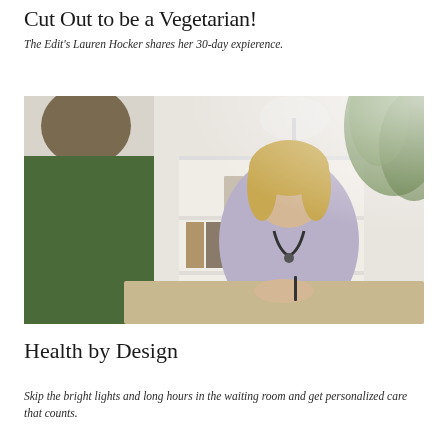Cut Out to be a Vegetarian!
The Edit's Lauren Hocker shares her 30-day expierence.
[Figure (photo): A female doctor or physician with a stethoscope sitting across a desk from a patient (seen from behind), in a bright medical office with shelves, binders, a lamp, and a plant in the background.]
Health by Design
Skip the bright lights and long hours in the waiting room and get personalized care that counts.